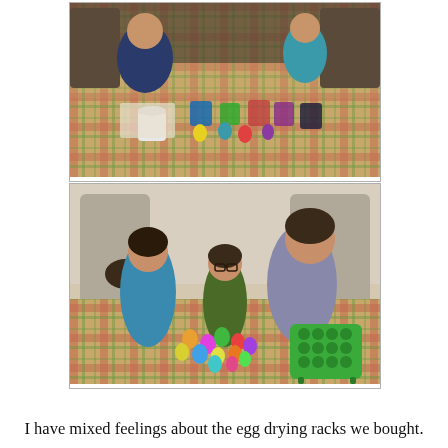[Figure (photo): Two people, an adult woman and a girl, sitting at a plaid-tablecloth covered table dyeing Easter eggs. Multiple cups of colored dye and eggs are on the table.]
[Figure (photo): Three girls smiling at the camera, leaning over a plaid-tablecloth table covered with colorful dyed Easter eggs and a green egg drying rack.]
I have mixed feelings about the egg drying racks we bought.